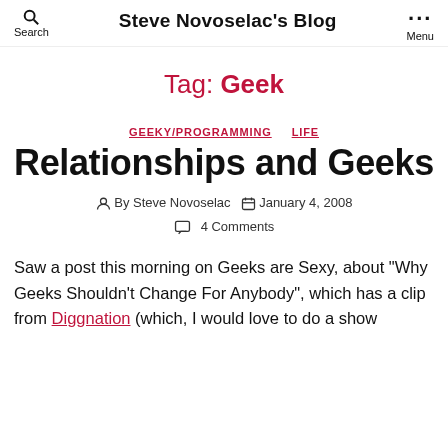Steve Novoselac's Blog
Tag: Geek
GEEKY/PROGRAMMING   LIFE
Relationships and Geeks
By Steve Novoselac   January 4, 2008
4 Comments
Saw a post this morning on Geeks are Sexy, about "Why Geeks Shouldn't Change For Anybody", which has a clip from Diggnation (which, I would love to do a show